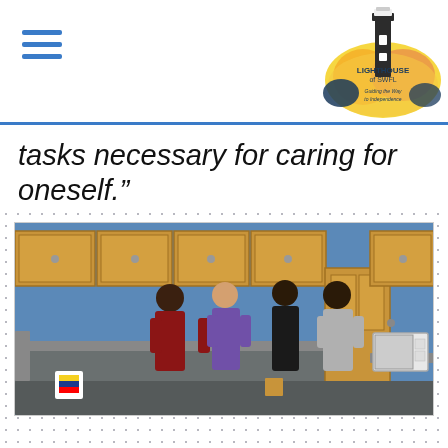Lighthouse of SWFL - Guiding the Way to Independence
tasks necessary for caring for oneself.”
[Figure (photo): People standing in a kitchen training room. The room has wooden cabinets, blue walls, a granite-topped island, and a microwave on the counter. Four people are gathered around a cooking area.]